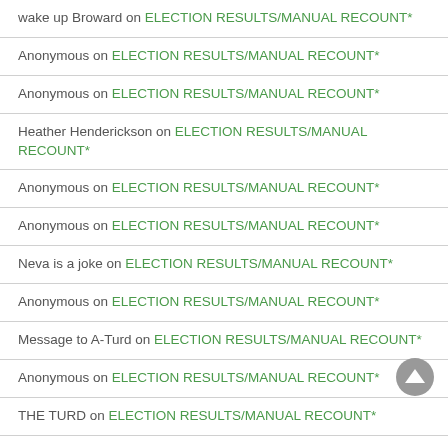wake up Broward on ELECTION RESULTS/MANUAL RECOUNT*
Anonymous on ELECTION RESULTS/MANUAL RECOUNT*
Anonymous on ELECTION RESULTS/MANUAL RECOUNT*
Heather Henderickson on ELECTION RESULTS/MANUAL RECOUNT*
Anonymous on ELECTION RESULTS/MANUAL RECOUNT*
Anonymous on ELECTION RESULTS/MANUAL RECOUNT*
Neva is a joke on ELECTION RESULTS/MANUAL RECOUNT*
Anonymous on ELECTION RESULTS/MANUAL RECOUNT*
Message to A-Turd on ELECTION RESULTS/MANUAL RECOUNT*
Anonymous on ELECTION RESULTS/MANUAL RECOUNT*
THE TURD on ELECTION RESULTS/MANUAL RECOUNT*
Anonymous on ELECTION RESULTS/MANUAL RECOUNT*